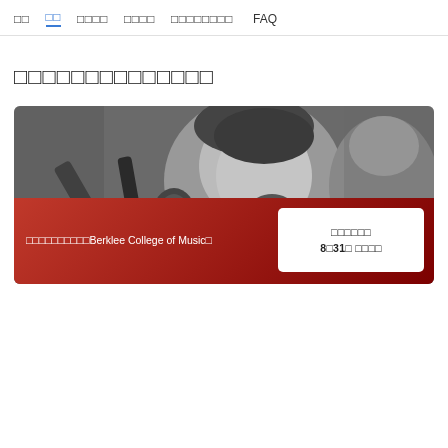□□  □□  □□□□  □□□□  □□□□□□□□  FAQ
□□□□□□□□□□□□□□
[Figure (photo): Black and white photo of a smiling woman singing into a microphone, with a Berklee College of Music logo overlay in the lower left corner]
□□□□□□□□□□Berklee College of Music□
□□□□□□
8□31□ □□□□